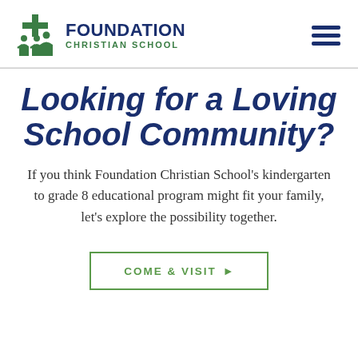[Figure (logo): Foundation Christian School logo with green figure icon and navy blue text]
Looking for a Loving School Community?
If you think Foundation Christian School's kindergarten to grade 8 educational program might fit your family, let's explore the possibility together.
COME & VISIT ▶